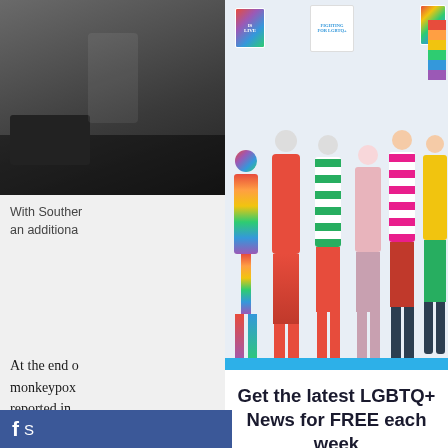[Figure (photo): Group of diverse LGBTQ+ activists holding rainbow flags and signs reading 'LOVE', 'FIGHTING FOR LGBTQ+' at a pride event, wearing colorful rainbow outfits]
With Southern... an additiona...
At the end o... monkeypox... reported in... increased p... prompting... with a new...
Although th... most data f... Prevention... number of...
Get the latest LGBTQ+ News for FREE each week
Every Thursday direct to your inbox
Enter your email here...
Yes! I want FREE LGBTQ News
[Figure (logo): Facebook share bar with Facebook icon and 'S' text]